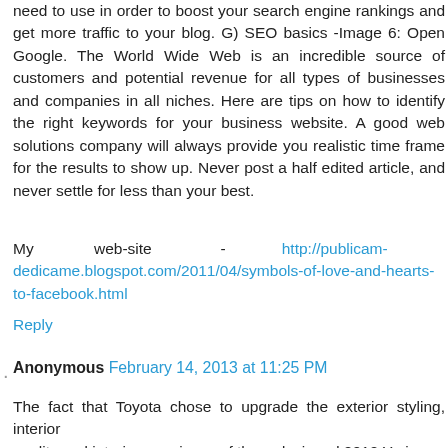need to use in order to boost your search engine rankings and get more traffic to your blog. G) SEO basics -Image 6: Open Google. The World Wide Web is an incredible source of customers and potential revenue for all types of businesses and companies in all niches. Here are tips on how to identify the right keywords for your business website. A good web solutions company will always provide you realistic time frame for the results to show up. Never post a half edited article, and never settle for less than your best.
My web-site - http://publicam-dedicame.blogspot.com/2011/04/symbols-of-love-and-hearts-to-facebook.html
Reply
Anonymous February 14, 2013 at 11:25 PM
The fact that Toyota chose to upgrade the exterior styling, interior quality and interior roominess of the redesigned 2012 Yaris